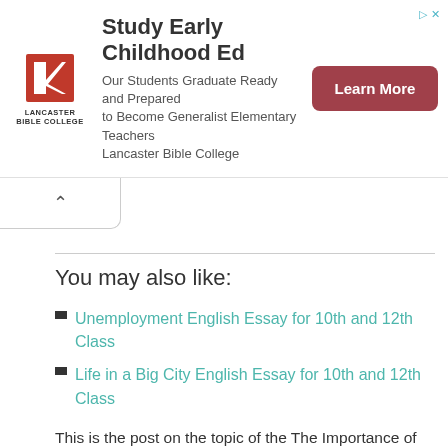[Figure (other): Advertisement banner for Lancaster Bible College — Study Early Childhood Ed. Logo on left, text in center, 'Learn More' button on right.]
You may also like:
Unemployment English Essay for 10th and 12th Class
Life in a Big City English Essay for 10th and 12th Class
This is the post on the topic of the The Importance of Sports and Games English Essay for 10th and 12th Class. The post is tagged and categorized under in Education News, English Essays Tags. For more content related to this post you can click on labels link.